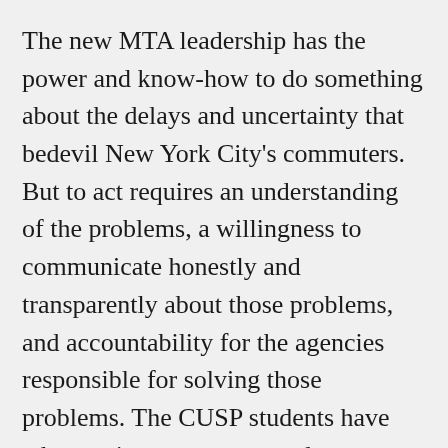The new MTA leadership has the power and know-how to do something about the delays and uncertainty that bedevil New York City's commuters. But to act requires an understanding of the problems, a willingness to communicate honestly and transparently about those problems, and accountability for the agencies responsible for solving those problems. The CUSP students have taken an important step to demonstrate how a common understanding of the problems facing NYC bus service can be articulated. The MTA would do well to do draw inspiration from these students' ambitious work,